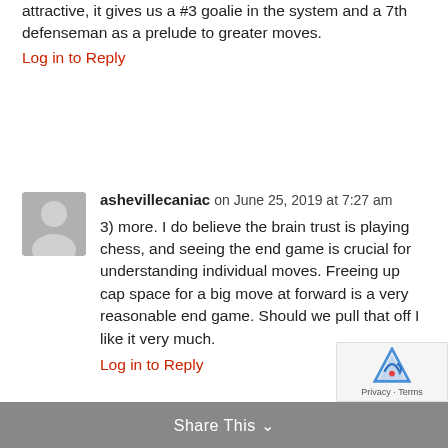attractive, it gives us a #3 goalie in the system and a 7th defenseman as a prelude to greater moves.
Log in to Reply
ashevillecaniac on June 25, 2019 at 7:27 am
3) more. I do believe the brain trust is playing chess, and seeing the end game is crucial for understanding individual moves. Freeing up cap space for a big move at forward is a very reasonable end game. Should we pull that off I like it very much.
Log in to Reply
Share This